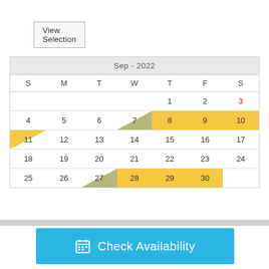View Selection
Next »
| S | M | T | W | T | F | S |
| --- | --- | --- | --- | --- | --- | --- |
|  |  |  |  | 1 | 2 | 3 |
| 4 | 5 | 6 | 7 | 8 | 9 | 10 |
| 11 | 12 | 13 | 14 | 15 | 16 | 17 |
| 18 | 19 | 20 | 21 | 22 | 23 | 24 |
| 25 | 26 | 27 | 28 | 29 | 30 |  |
Check Availability